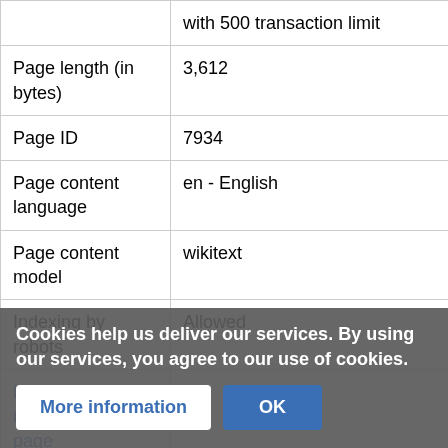| Property | Value |
| --- | --- |
|  | with 500 transaction limit |
| Page length (in bytes) | 3,612 |
| Page ID | 7934 |
| Page content language | en - English |
| Page content model | wikitext |
| Indexing by robots | Allowed |
| Number of redirects to this page | 0 |
| Counted as a content page |  |
Cookies help us deliver our services. By using our services, you agree to our use of cookies.